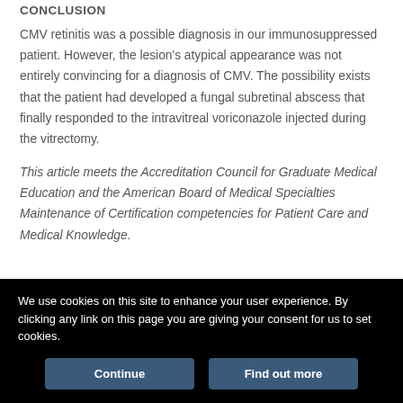CONCLUSION
CMV retinitis was a possible diagnosis in our immunosuppressed patient. However, the lesion's atypical appearance was not entirely convincing for a diagnosis of CMV. The possibility exists that the patient had developed a fungal subretinal abscess that finally responded to the intravitreal voriconazole injected during the vitrectomy.
This article meets the Accreditation Council for Graduate Medical Education and the American Board of Medical Specialties Maintenance of Certification competencies for Patient Care and Medical Knowledge.
We use cookies on this site to enhance your user experience. By clicking any link on this page you are giving your consent for us to set cookies.